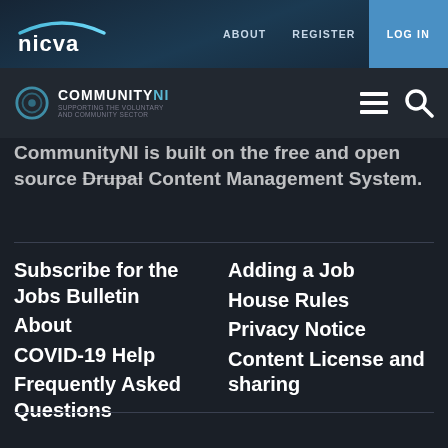nicva | ABOUT  REGISTER  LOG IN
[Figure (logo): NICVA logo with arc/swoosh above text, white text on dark navy background]
[Figure (logo): CommunityNI logo with circular ring icon and text COMMUNITYNI]
CommunityNI is built on the free and open source Drupal Content Management System.
Subscribe for the Jobs Bulletin
About
COVID-19 Help
Frequently Asked Questions
Adding a Job
House Rules
Privacy Notice
Content License and sharing